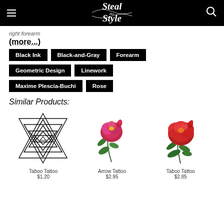Steal Her Style
right forearm
(more...)
Black Ink
Black-and-Gray
Forearm
Geometric Design
Linework
Maxime Plescia-Buchi
Rose
Similar Products:
[Figure (illustration): Geometric triangles/Sri Yantra linework tattoo design in black ink]
Taboo Tattoo
$1.20
[Figure (illustration): Pink/red rose botanical illustration with green leaves]
Arrow Tattoo
$2.95
[Figure (illustration): Red rose botanical illustration with green leaves]
Taboo Tattoo
$2.85